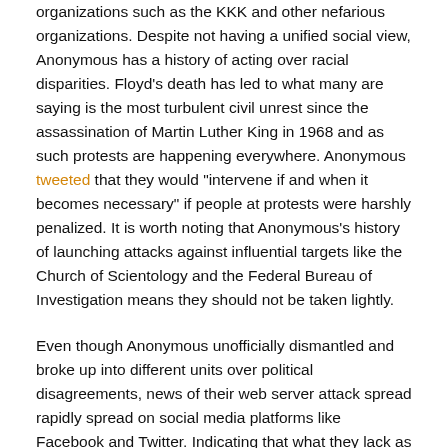organizations such as the KKK and other nefarious organizations. Despite not having a unified social view, Anonymous has a history of acting over racial disparities. Floyd's death has led to what many are saying is the most turbulent civil unrest since the assassination of Martin Luther King in 1968 and as such protests are happening everywhere. Anonymous tweeted that they would "intervene if and when it becomes necessary" if people at protests were harshly penalized. It is worth noting that Anonymous's history of launching attacks against influential targets like the Church of Scientology and the Federal Bureau of Investigation means they should not be taken lightly.
Even though Anonymous unofficially dismantled and broke up into different units over political disagreements, news of their web server attack spread rapidly spread on social media platforms like Facebook and Twitter. Indicating that what they lack as a hacktivist organization, they make up for in social media influence. This social media influence is notable in that it encourages others to use cyber tactics to make a statement and or debilitate groups or communities with conflicting opinions.